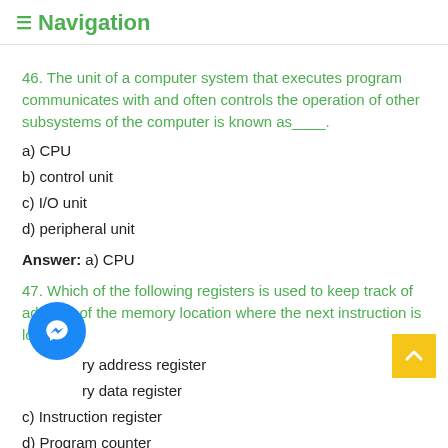≡ Navigation
46. The unit of a computer system that executes program communicates with and often controls the operation of other subsystems of the computer is known as____.
a) CPU
b) control unit
c) I/O unit
d) peripheral unit
Answer: a) CPU
47. Which of the following registers is used to keep track of address of the memory location where the next instruction is located?
a) memory address register
b) memory data register
c) Instruction register
d) Program counter